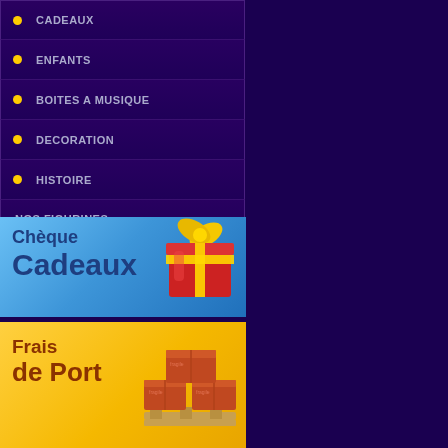CADEAUX
ENFANTS
BOITES A MUSIQUE
DECORATION
HISTOIRE
NOS FIGURINES
[Figure (illustration): Blue banner with text 'Chèque Cadeaux' and a red gift box with yellow ribbon]
[Figure (illustration): Yellow banner with text 'Frais de Port' and stacked cardboard boxes on a pallet]